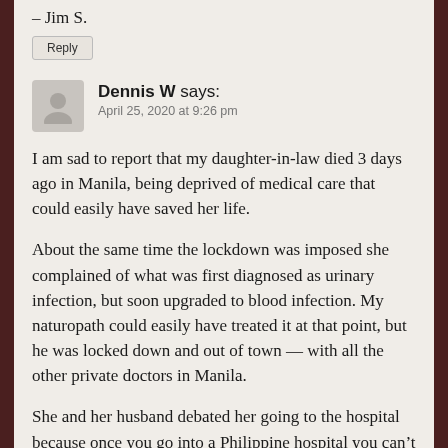– Jim S.
Reply
Dennis W says:
April 25, 2020 at 9:26 pm
I am sad to report that my daughter-in-law died 3 days ago in Manila, being deprived of medical care that could easily have saved her life.
About the same time the lockdown was imposed she complained of what was first diagnosed as urinary infection, but soon upgraded to blood infection. My naturopath could easily have treated it at that point, but he was locked down and out of town — with all the other private doctors in Manila.
She and her husband debated her going to the hospital because once you go into a Philippine hospital you can't get out unless